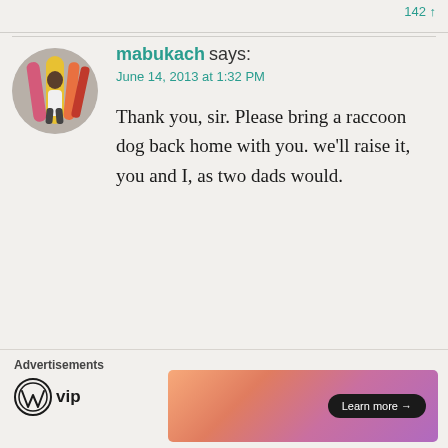mabukach says:
June 14, 2013 at 1:32 PM
Thank you, sir. Please bring a raccoon dog back home with you. we'll raise it, you and I, as two dads would.
★ Like
[Figure (photo): Circular avatar photo of a person standing next to a yellow surfboard with colorful surfboards behind them]
Advertisements
[Figure (logo): WordPress VIP logo]
[Figure (other): Advertisement banner with gradient background and Learn more button]